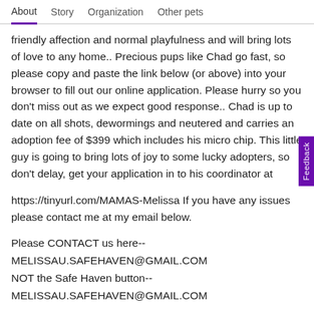About   Story   Organization   Other pets
friendly affection and normal playfulness and will bring lots of love to any home.. Precious pups like Chad go fast, so please copy and paste the link below (or above) into your browser to fill out our online application. Please hurry so you don't miss out as we expect good response.. Chad is up to date on all shots, dewormings and neutered and carries an adoption fee of $399 which includes his micro chip. This little guy is going to bring lots of joy to some lucky adopters, so don't delay, get your application in to his coordinator at
https://tinyurl.com/MAMAS-Melissa If you have any issues please contact me at my email below.
Please CONTACT us here--
MELISSAU.SAFEHAVEN@GMAIL.COM
NOT the Safe Haven button--
MELISSAU.SAFEHAVEN@GMAIL.COM